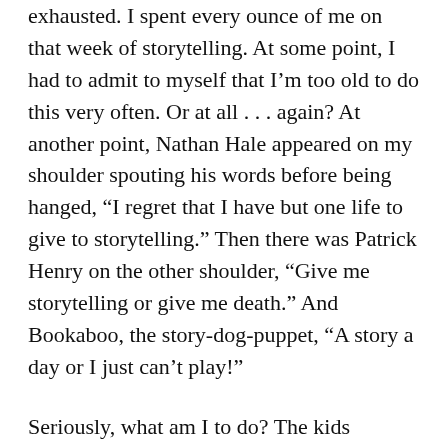exhausted. I spent every ounce of me on that week of storytelling. At some point, I had to admit to myself that I’m too old to do this very often. Or at all . . . again? At another point, Nathan Hale appeared on my shoulder spouting his words before being hanged, “I regret that I have but one life to give to storytelling.” Then there was Patrick Henry on the other shoulder, “Give me storytelling or give me death.” And Bookaboo, the story-dog-puppet, “A story a day or I just can’t play!”
Seriously, what am I to do? The kids responded and I thrived. But is this anything I can use in writing? I mentioned to my long-suffering husband Jim that I think I’ll rewrite WAR STORIES FOR CHILDREN, moving from the